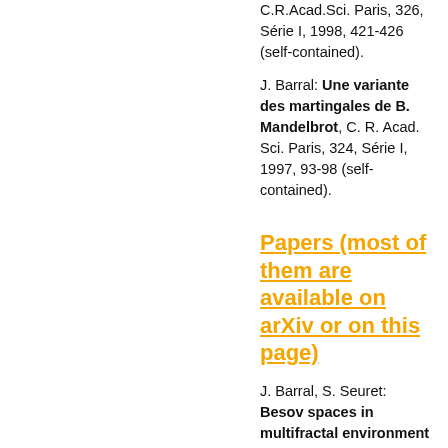C.R.Acad.Sci. Paris, 326, Série I, 1998, 421-426 (self-contained).
J. Barral: Une variante des martingales de B. Mandelbrot, C. R. Acad. Sci. Paris, 324, Série I, 1997, 93-98 (self-contained).
Papers (most of them are available on arXiv or on this page)
J. Barral, S. Seuret: Besov spaces in multifractal environment and the Frisch-Parisi conjecture, preprint
J. Barral, X. Jin: On the action of multiplicative...